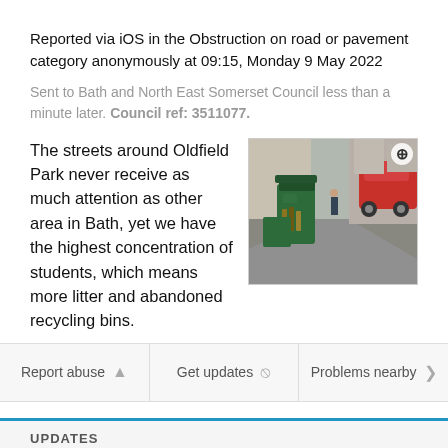Reported via iOS in the Obstruction on road or pavement category anonymously at 09:15, Monday 9 May 2022
Sent to Bath and North East Somerset Council less than a minute later. Council ref: 3511077.
The streets around Oldfield Park never receive as much attention as other area in Bath, yet we have the highest concentration of students, which means more litter and abandoned recycling bins.
[Figure (photo): Street photo showing green recycling bins on a narrow pavement with parked cars and a pedestrian in the background]
Report abuse
Get updates
Problems nearby
UPDATES